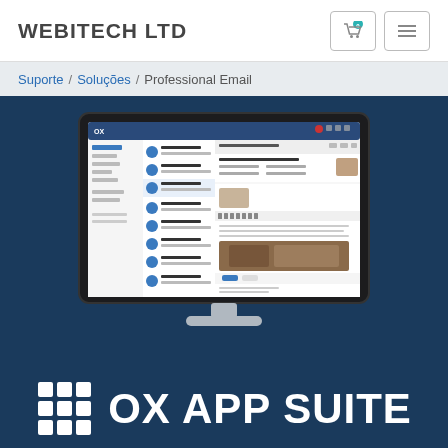WEBITECH LTD
Suporte / Soluções / Professional Email
[Figure (screenshot): Screenshot of OX App Suite email interface shown on a monitor display, with dark navy background]
OX APP SUITE